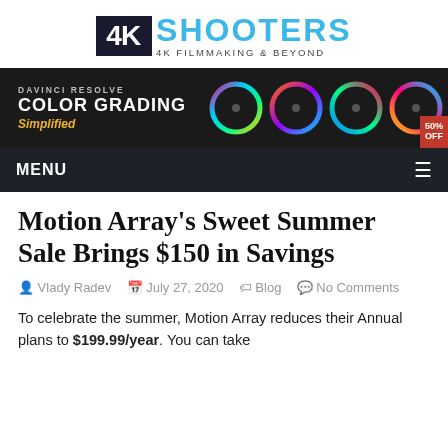[Figure (logo): 4K Shooters logo: dark box with '4K' text, followed by 'SHOOTERS' in blue, tagline '4K FILMMAKING & BEYOND']
[Figure (infographic): Advertisement banner for DaVinci Resolve Color Grading Simplified course — dark background with colorful ring graphics and 50% OFF badge]
MENU
Motion Array's Sweet Summer Sale Brings $150 in Savings
Vlady Radev  July 27, 2020  Blog  No Comments
To celebrate the summer, Motion Array reduces their Annual plans to $199.99/year. You can take